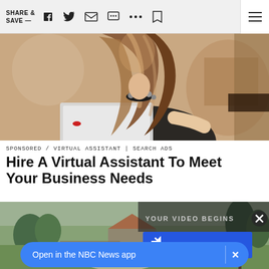SHARE & SAVE —
[Figure (photo): Woman with long brown highlighted hair wearing a black top and statement necklace, holding a laptop or tablet, seated in a cafe or office environment. Hero image for article.]
SPONSORED / VIRTUAL ASSISTANT | SEARCH ADS
Hire A Virtual Assistant To Meet Your Business Needs
[Figure (screenshot): Video thumbnail showing a stylized 3D animated outdoor scene with trees, grass, buildings and landscape. Overlay shows 'YOUR VIDEO BEGINS' text and a blue 'TAP TO UNMUTE' button with speaker icon and X close button.]
Open in the NBC News app